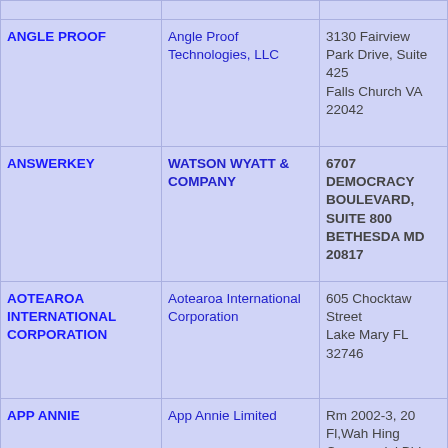| Trade Name | Legal Name | Address |
| --- | --- | --- |
| ANGLE PROOF | Angle Proof Technologies, LLC | 3130 Fairview Park Drive, Suite 425
Falls Church VA 22042 |
| ANSWERKEY | WATSON WYATT & COMPANY | 6707 DEMOCRACY BOULEVARD, SUITE 800
BETHESDA MD 20817 |
| AOTEAROA INTERNATIONAL CORPORATION | Aotearoa International Corporation | 605 Chocktaw Street
Lake Mary FL 32746 |
| APP ANNIE | App Annie Limited | Rm 2002-3, 20 Fl,Wah Hing Commercial Bld |